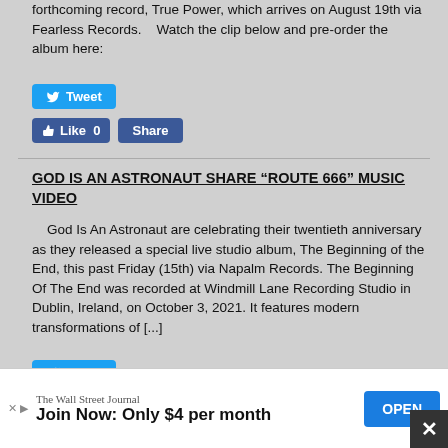forthcoming record, True Power, which arrives on August 19th via Fearless Records.    Watch the clip below and pre-order the album here:
[Figure (screenshot): Twitter Tweet button (blue)]
[Figure (screenshot): Facebook Like 0 and Share buttons (blue)]
GOD IS AN ASTRONAUT SHARE “ROUTE 666” MUSIC VIDEO
God Is An Astronaut are celebrating their twentieth anniversary as they released a special live studio album, The Beginning of the End, this past Friday (15th) via Napalm Records. The Beginning Of The End was recorded at Windmill Lane Recording Studio in Dublin, Ireland, on October 3, 2021. It features modern transformations of [...]
[Figure (screenshot): Twitter Tweet button (blue)]
[Figure (screenshot): Facebook Like 0 and Share buttons (blue)]
KR... VID...
[Figure (screenshot): Advertisement: The Wall Street Journal - Join Now: Only $4 per month - OPEN button]
X close button overlay